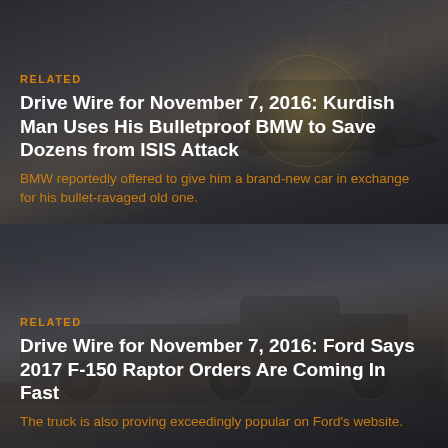[Figure (photo): Dark background with a BMW car silhouette, circular bokeh light effect, dimly lit automotive scene]
RELATED
Drive Wire for November 7, 2016: Kurdish Man Uses His Bulletproof BMW to Save Dozens from ISIS Attack
BMW reportedly offered to give him a brand-new car in exchange for his bullet-ravaged old one.
[Figure (photo): Dark background with Ford F-150 Raptor pickup truck on desert landscape, dramatic sky]
RELATED
Drive Wire for November 7, 2016: Ford Says 2017 F-150 Raptor Orders Are Coming In Fast
The truck is also proving exceedingly popular on Ford's website.